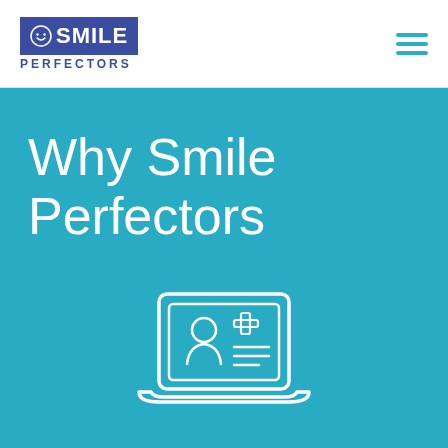[Figure (logo): Smile Perfectors logo with smiley face icon and blue text]
Why Smile Perfectors
[Figure (illustration): Laptop icon with a medical ID card showing a person silhouette and medical cross symbol, rendered as white outline on teal background]